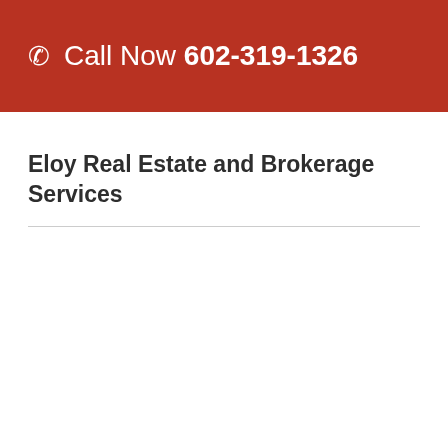Call Now 602-319-1326
Eloy Real Estate and Brokerage Services